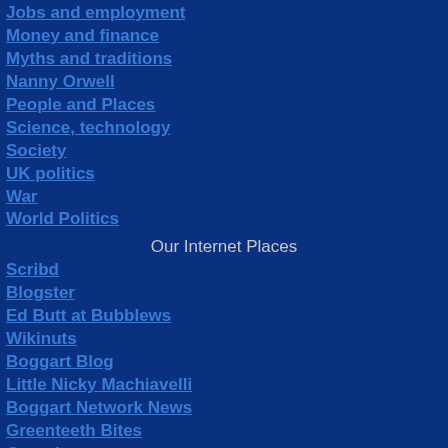Jobs and employment
Money and finance
Myths and traditions
Nanny Orwell
People and Places
Science, technology
Society
UK politics
War
World Politics
Our Internet Places
Scribd
Blogster
Ed Butt at Bubblews
Wikinuts
Boggart Blog
Little Nicky Machiavelli
Boggart Network News
Greenteeth Bites
Greenboggart
Boggart Blog Central
Daily Stirrer briefing
Boggart Network News
BOGGART BLOG ARCHIVES